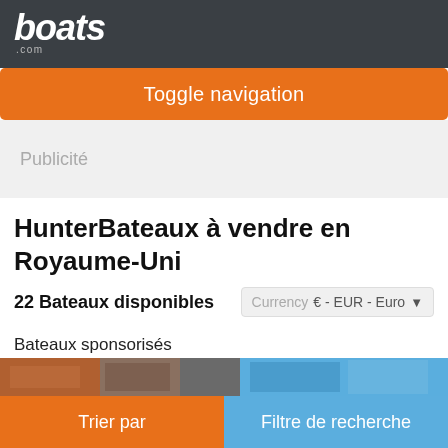boats.com
Toggle navigation
Publicité
HunterBateaux à vendre en Royaume-Uni
22 Bateaux disponibles
Currency  € - EUR - Euro
Bateaux sponsorisés
Trier par
Filtre de recherche